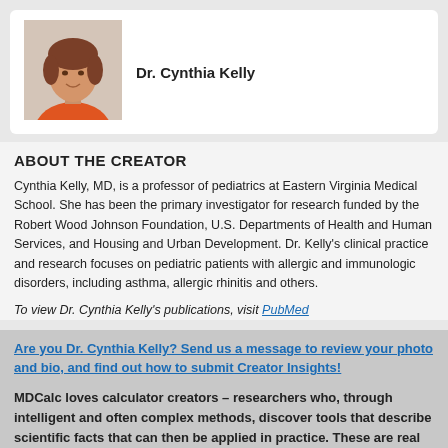[Figure (photo): Headshot photo of Dr. Cynthia Kelly, a woman with short brown hair wearing a red/orange top]
Dr. Cynthia Kelly
ABOUT THE CREATOR
Cynthia Kelly, MD, is a professor of pediatrics at Eastern Virginia Medical School. She has been the primary investigator for research funded by the Robert Wood Johnson Foundation, U.S. Departments of Health and Human Services, and Housing and Urban Development. Dr. Kelly's clinical practice and research focuses on pediatric patients with allergic and immunologic disorders, including asthma, allergic rhinitis and others.
To view Dr. Cynthia Kelly's publications, visit PubMed
Are you Dr. Cynthia Kelly? Send us a message to review your photo and bio, and find out how to submit Creator Insights!
MDCalc loves calculator creators – researchers who, through intelligent and often complex methods, discover tools that describe scientific facts that can then be applied in practice. These are real scientific discoveries about the nature of the